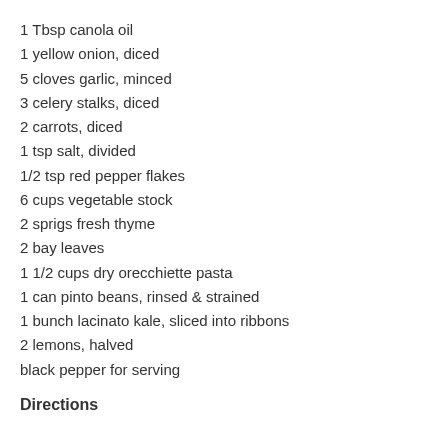1 Tbsp canola oil
1 yellow onion, diced
5 cloves garlic, minced
3 celery stalks, diced
2 carrots, diced
1 tsp salt, divided
1/2 tsp red pepper flakes
6 cups vegetable stock
2 sprigs fresh thyme
2 bay leaves
1 1/2 cups dry orecchiette pasta
1 can pinto beans, rinsed & strained
1 bunch lacinato kale, sliced into ribbons
2 lemons, halved
black pepper for serving
Directions